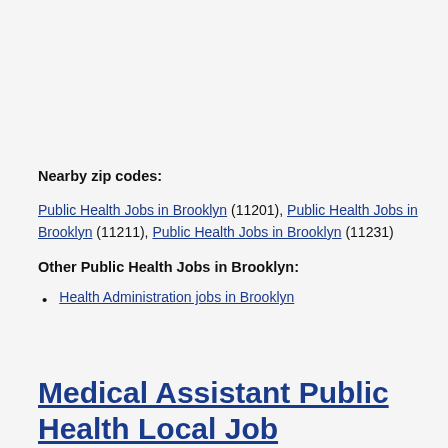Nearby zip codes:
Public Health Jobs in Brooklyn (11201), Public Health Jobs in Brooklyn (11211), Public Health Jobs in Brooklyn (11231)
Other Public Health Jobs in Brooklyn:
Health Administration jobs in Brooklyn
Medical Assistant Public Health Local Job